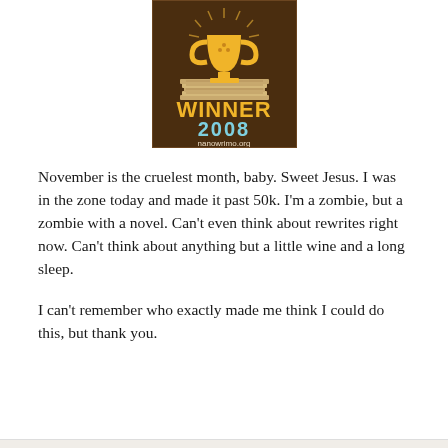[Figure (logo): NaNoWriMo Winner 2008 badge — brown background with a gold trophy on a stack of pages, 'WINNER' in yellow text, '2008' in light blue text, 'nanowrimo.org' in white text at the bottom.]
November is the cruelest month, baby. Sweet Jesus. I was in the zone today and made it past 50k. I'm a zombie, but a zombie with a novel. Can't even think about rewrites right now. Can't think about anything but a little wine and a long sleep.
I can't remember who exactly made me think I could do this, but thank you.